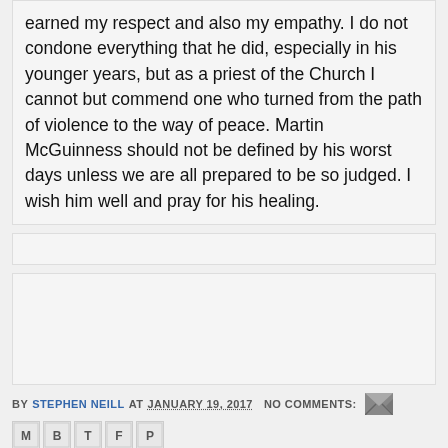earned my respect and also my empathy. I do not condone everything that he did, especially in his younger years, but as a priest of the Church I cannot but commend one who turned from the path of violence to the way of peace. Martin McGuinness should not be defined by his worst days unless we are all prepared to be so judged. I wish him well and pray for his healing.
BY STEPHEN NEILL AT JANUARY 19, 2017  NO COMMENTS:
[Figure (other): Social sharing icons: email (M), Blogger (B), Twitter (T), Facebook (F), Pinterest (P)]
Newer Posts   Home   Older Posts
Subscribe to: Posts (Atom)